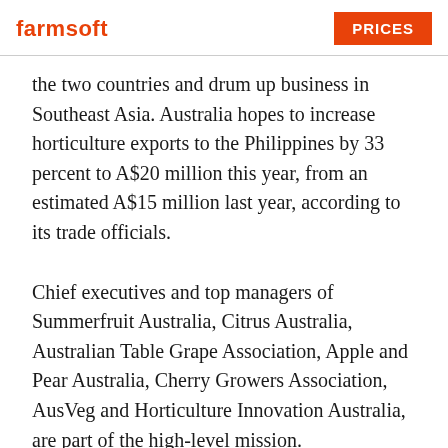farmsoft | PRICES
the two countries and drum up business in Southeast Asia. Australia hopes to increase horticulture exports to the Philippines by 33 percent to A$20 million this year, from an estimated A$15 million last year, according to its trade officials.
Chief executives and top managers of Summerfruit Australia, Citrus Australia, Australian Table Grape Association, Apple and Pear Australia, Cherry Growers Association, AusVeg and Horticulture Innovation Australia, are part of the high-level mission.
Accompanying the business leaders are representatives